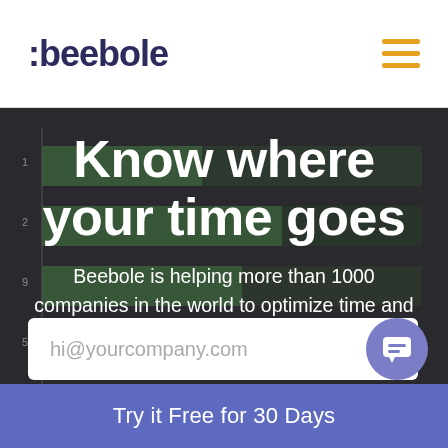:beebole
Know where your time goes
Beebole is helping more than 1000 companies in the world to optimize time and resources.
[Figure (other): Email input field with placeholder hi@yourcompany.com and purple chat bubble icon]
Try it Free for 30 Days